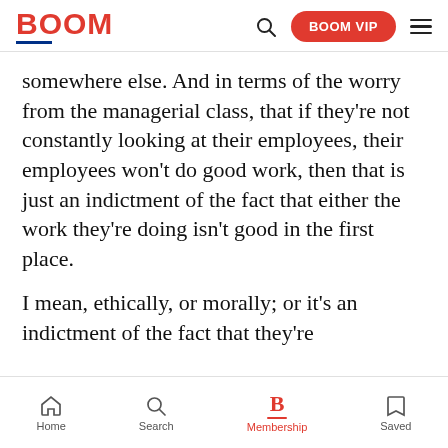BOOM | BOOM VIP
somewhere else. And in terms of the worry from the managerial class, that if they're not constantly looking at their employees, their employees won't do good work, then that is just an indictment of the fact that either the work they're doing isn't good in the first place.
I mean, ethically, or morally; or it's an indictment of the fact that they're
Home | Search | Membership | Saved